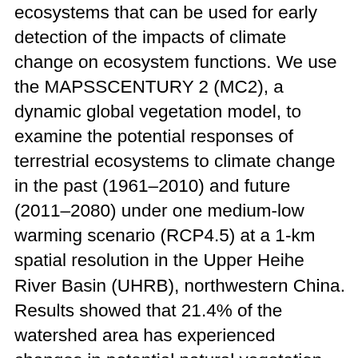ecosystems that can be used for early detection of the impacts of climate change on ecosystem functions. We use the MAPSSCENTURY 2 (MC2), a dynamic global vegetation model, to examine the potential responses of terrestrial ecosystems to climate change in the past (1961–2010) and future (2011–2080) under one medium-low warming scenario (RCP4.5) at a 1-km spatial resolution in the Upper Heihe River Basin (UHRB), northwestern China. Results showed that 21.4% of the watershed area has experienced changes in potential natural vegetation types in the past and that 42.6% of the land would undergo changes by the 2070s, characterized by a sharp increase in alpine tundra at the cost of cold barren land. Net primary productivity (NPP) and heterotrophic respiration (RH) have increased sharply since the mid-1980s and are projected to remain at reduced rates in the future. Overall, UHRB switched from carbon neutral to a carbon sink in 1961–2010, and the sink strength is projected to decline after 2040.